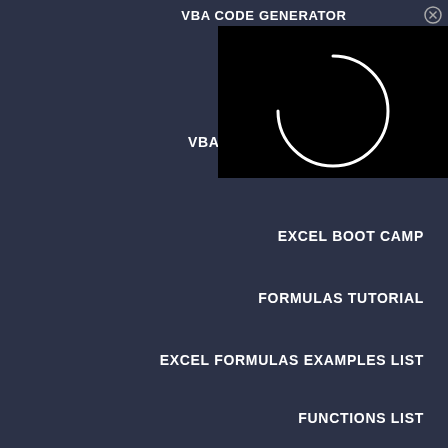VBA CODE GENERATOR
[Figure (screenshot): Loading spinner (white arc) on black background popup overlay]
VBA CODE G
EXCEL BOOT CAMP
FORMULAS TUTORIAL
EXCEL FORMULAS EXAMPLES LIST
FUNCTIONS LIST